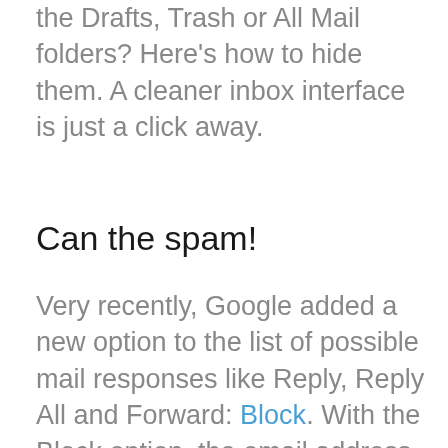the Drafts, Trash or All Mail folders? Here's how to hide them. A cleaner inbox interface is just a click away.
Can the spam!
Very recently, Google added a new option to the list of possible mail responses like Reply, Reply All and Forward: Block. With the Block option, the email address that sent a particular message will be hereafter routed directly to a Spam folder and, like all spam, will be deleted after 30 days. This is different than marking a message as spam, as Gmail tries to analyze what it is about a Spam-marked email that qualifies the message as unwanted and applies that to future incoming emails (a process which may or may not block